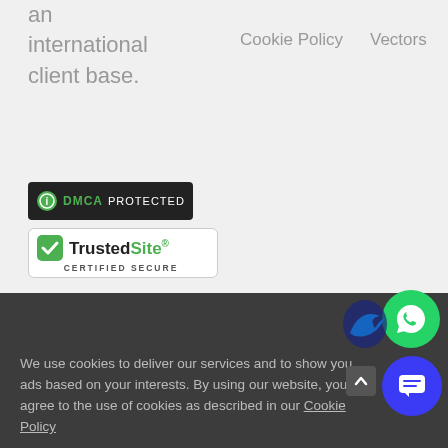an international client base.
Cookie Policy
Vectors
[Figure (logo): DMCA Protected badge with green icon and dark background]
[Figure (logo): TrustedSite Certified Secure badge with green checkmark]
COMPANY
SUBSIDIARIES
About Us
RawRank
We use cookies to deliver our services and to show you ads based on your interests. By using our website, you agree to the use of cookies as described in our Cookie Policy